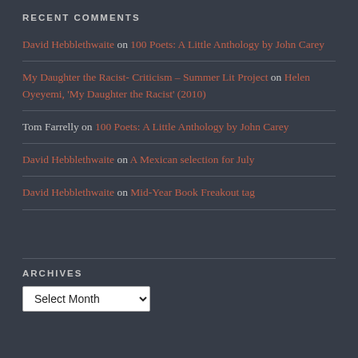RECENT COMMENTS
David Hebblethwaite on 100 Poets: A Little Anthology by John Carey
My Daughter the Racist- Criticism – Summer Lit Project on Helen Oyeyemi, 'My Daughter the Racist' (2010)
Tom Farrelly on 100 Poets: A Little Anthology by John Carey
David Hebblethwaite on A Mexican selection for July
David Hebblethwaite on Mid-Year Book Freakout tag
ARCHIVES